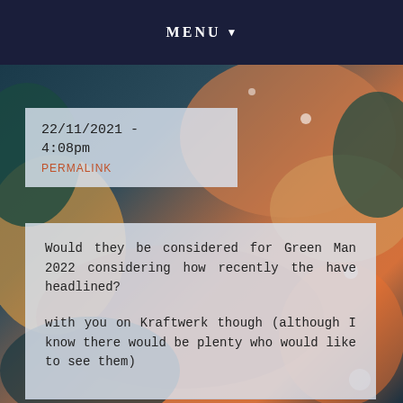MENU ▼
22/11/2021 - 4:08pm
PERMALINK
Would they be considered for Green Man 2022 considering how recently the have headlined?

with you on Kraftwerk though (although I know there would be plenty who would like to see them)